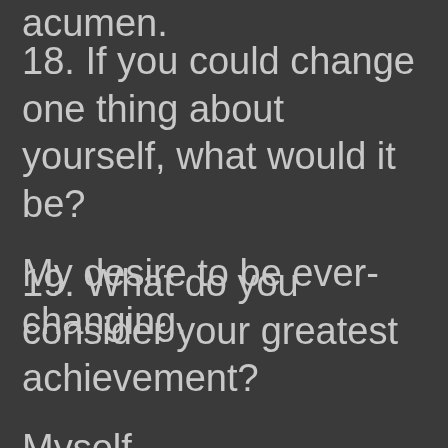acumen.
18. If you could change one thing about yourself, what would it be?
My desire to be ever-changing.
19. What do you consider your greatest achievement?
Myself.